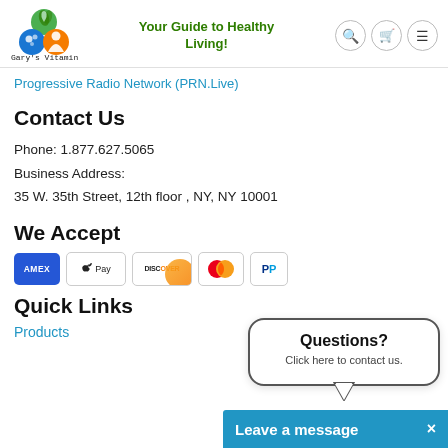[Figure (logo): Gary's Vitamin Closet logo with green, blue and orange circular icons and site name]
Your Guide to Healthy Living!
Progressive Radio Network (PRN.Live)
Contact Us
Phone: 1.877.627.5065
Business Address:
35 W. 35th Street, 12th floor , NY, NY 10001
We Accept
[Figure (infographic): Payment icons: AMEX, Apple Pay, Discover, Mastercard, PayPal]
Quick Links
Products
Questions? Click here to contact us.
Leave a message